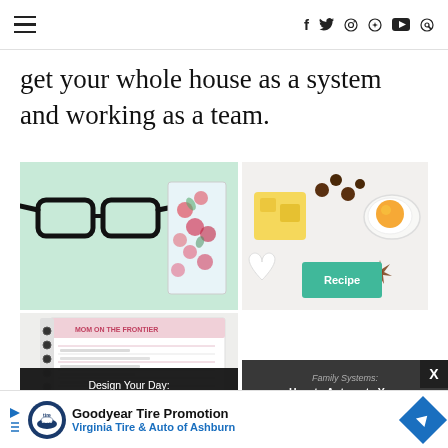≡  f  twitter  instagram  pinterest  youtube  search
get your whole house as a system and working as a team.
[Figure (photo): Two photos: left shows black-rimmed glasses and a floral notebook on mint background; right shows baking ingredients including butter, egg yolk, chocolate chips, and a recipe card]
[Figure (photo): Photo of a spiral-bound planner/worksheet with pink printed text and lines]
Design Your Day: Time Management for the Busy Woman
Family Systems: How to Automate Your Housewife Life
Goodyear Tire Promotion  Virginia Tire & Auto of Ashburn